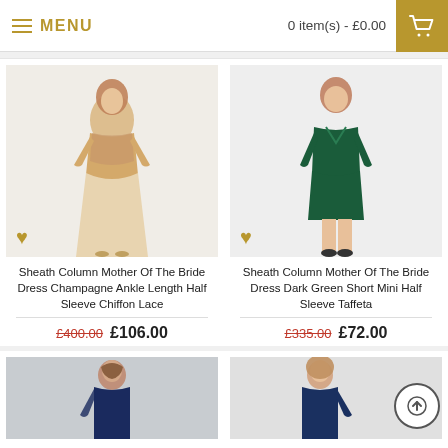MENU  |  0 item(s) - £0.00
[Figure (photo): Champagne ankle-length lace chiffon mother of bride dress on model]
Sheath Column Mother Of The Bride Dress Champagne Ankle Length Half Sleeve Chiffon Lace
£400.00  £106.00
[Figure (photo): Dark green short mini half sleeve taffeta mother of bride dress on model]
Sheath Column Mother Of The Bride Dress Dark Green Short Mini Half Sleeve Taffeta
£335.00  £72.00
[Figure (photo): Navy blue dress partially visible at bottom left]
[Figure (photo): Navy blue dress partially visible at bottom right]